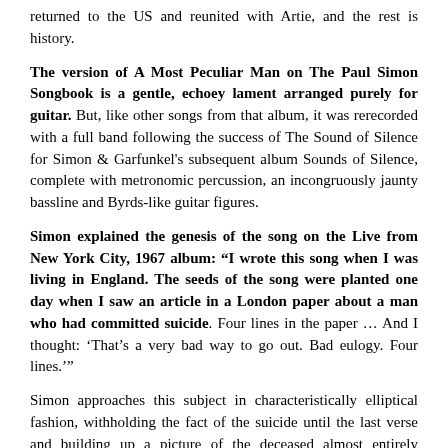returned to the US and reunited with Artie, and the rest is history.
The version of A Most Peculiar Man on The Paul Simon Songbook is a gentle, echoey lament arranged purely for guitar. But, like other songs from that album, it was rerecorded with a full band following the success of The Sound of Silence for Simon & Garfunkel's subsequent album Sounds of Silence, complete with metronomic percussion, an incongruously jaunty bassline and Byrds-like guitar figures.
Simon explained the genesis of the song on the Live from New York City, 1967 album: “I wrote this song when I was living in England. The seeds of the song were planted one day when I saw an article in a London paper about a man who had committed suicide. Four lines in the paper … And I thought: ‘That’s a very bad way to go out. Bad eulogy. Four lines.’”
Simon approaches this subject in characteristically elliptical fashion, withholding the fact of the suicide until the last verse and building up a picture of the deceased almost entirely through the eyes of the man’s baffled and unfeeling neighbours. He starts the song taking their description of him as “a most peculiar man” at face value, but the phrase becomes more and more grimly ironic with each repetition as Simon runs through their evidence: that he lived alone, had no friends, “seldom spoke”, that “he wasn’t like them”.